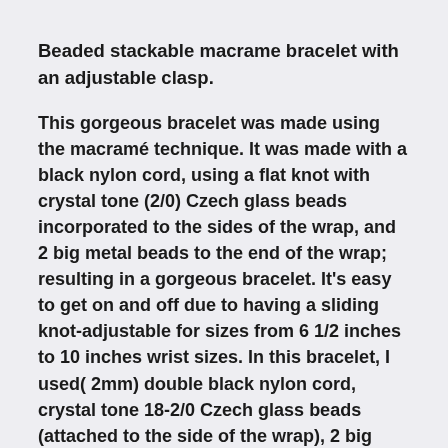Beaded stackable macrame bracelet with an adjustable clasp.
This gorgeous bracelet was made using the macramé technique. It was made with a black nylon cord, using a flat knot with crystal tone (2/0) Czech glass beads incorporated to the sides of the wrap, and 2 big metal beads to the end of the wrap; resulting in a gorgeous bracelet. It's easy to get on and off due to having a sliding knot-adjustable for sizes from 6 1/2 inches to 10 inches wrist sizes. In this bracelet, I used( 2mm) double black nylon cord, crystal tone 18-2/0 Czech glass beads (attached to the side of the wrap), 2 big metal beads (1/4 of an inch), and 4-(2/0) crystal tone Czech glass beads hanging from the tails of the bracelet.